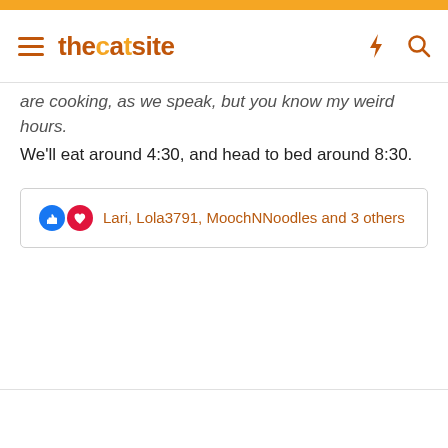thecatsite
are cooking, as we speak, but you know my weird hours. We'll eat around 4:30, and head to bed around 8:30.
Lari, Lola3791, MoochNNoodles and 3 others